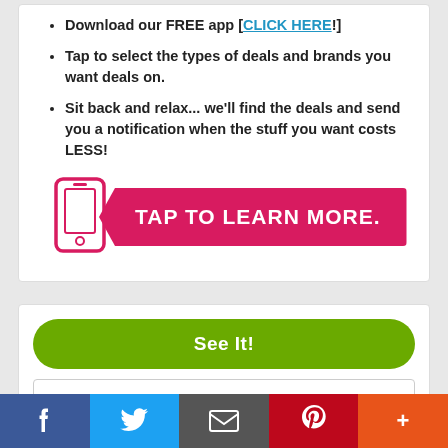Download our FREE app [CLICK HERE!]
Tap to select the types of deals and brands you want deals on.
Sit back and relax... we'll find the deals and send you a notification when the stuff you want costs LESS!
[Figure (infographic): Pink smartphone icon next to a pink arrow button reading TAP TO LEARN MORE.]
[Figure (infographic): Green rounded button labeled See It!]
[Figure (infographic): White outlined button with thumbs up icon and text Vote: 3]
[Figure (infographic): White outlined button with heart icon and text Favorite]
[Figure (infographic): Social sharing bar with Facebook, Twitter, Email, Pinterest, and More buttons]